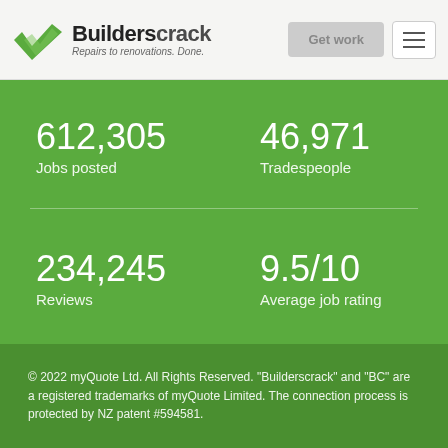Builderscrack – Repairs to renovations. Done.
612,305
Jobs posted
46,971
Tradespeople
234,245
Reviews
9.5/10
Average job rating
© 2022 myQuote Ltd. All Rights Reserved. "Builderscrack" and "BC" are a registered trademarks of myQuote Limited. The connection process is protected by NZ patent #594581.